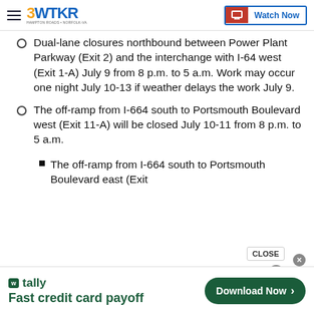3WTKR — Watch Now
Dual-lane closures northbound between Power Plant Parkway (Exit 2) and the interchange with I-64 west (Exit 1-A) July 9 from 8 p.m. to 5 a.m. Work may occur one night July 10-13 if weather delays the work July 9.
The off-ramp from I-664 south to Portsmouth Boulevard west (Exit 11-A) will be closed July 10-11 from 8 p.m. to 5 a.m.
The off-ramp from I-664 south to Portsmouth Boulevard east (Exit...